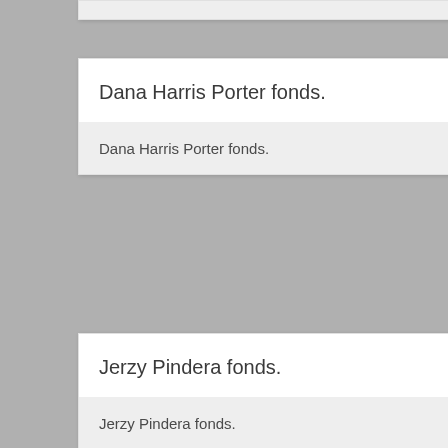Dana Harris Porter fonds.
Jerzy Pindera fonds.
Neyle family fonds.
Manuscript cookbook.